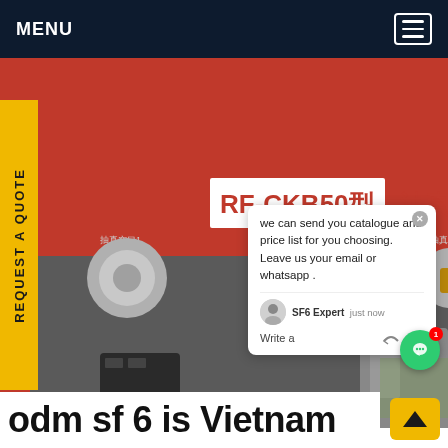MENU
[Figure (photo): Photo of a red industrial SF6 gas machine labeled RF-CKB50型 with three knob valves (抽真空口1, 抽真空口2, 抽真空口3) and Chinese text, with a chat popup overlay showing 'we can send you catalogue and price list for you choosing. Leave us your email or whatsapp .' from SF6 Expert.]
REQUEST A QUOTE
we can send you catalogue and price list for you choosing. Leave us your email or whatsapp .
SF6 Expert   just now
Write a
odm sf 6 is Vietnam